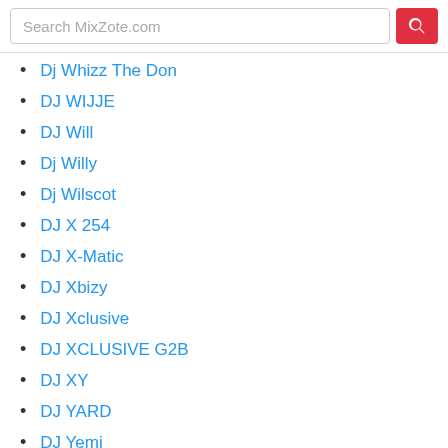Search MixZote.com
Dj Whizz The Don
DJ WIJJE
DJ Will
Dj Willy
Dj Wilscot
DJ X 254
DJ X-Matic
DJ Xbizy
DJ Xclusive
DJ XCLUSIVE G2B
DJ XY
DJ YARD
DJ Yemi
DJ Zack